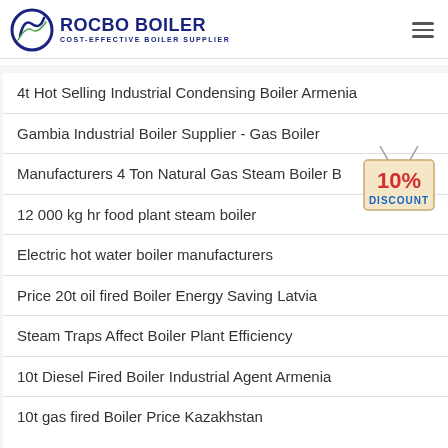ROCBO BOILER COST-EFFECTIVE BOILER SUPPLIER
4t Hot Selling Industrial Condensing Boiler Armenia
Gambia Industrial Boiler Supplier - Gas Boiler
Manufacturers 4 Ton Natural Gas Steam Boiler B…
12 000 kg hr food plant steam boiler
Electric hot water boiler manufacturers
Price 20t oil fired Boiler Energy Saving Latvia
Steam Traps Affect Boiler Plant Efficiency
10t Diesel Fired Boiler Industrial Agent Armenia
10t gas fired Boiler Price Kazakhstan